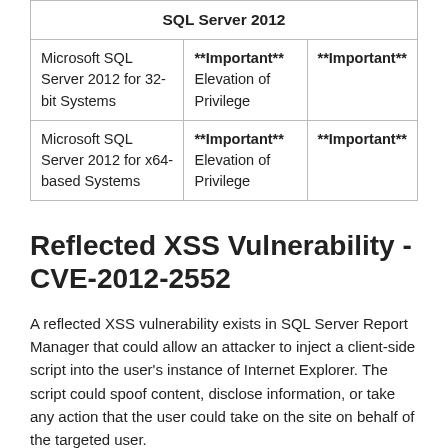| SQL Server 2012 |  |  |
| --- | --- | --- |
| Microsoft SQL Server 2012 for 32-bit Systems | **Important** Elevation of Privilege | **Important** |
| Microsoft SQL Server 2012 for x64-based Systems | **Important** Elevation of Privilege | **Important** |
Reflected XSS Vulnerability - CVE-2012-2552
A reflected XSS vulnerability exists in SQL Server Report Manager that could allow an attacker to inject a client-side script into the user's instance of Internet Explorer. The script could spoof content, disclose information, or take any action that the user could take on the site on behalf of the targeted user.